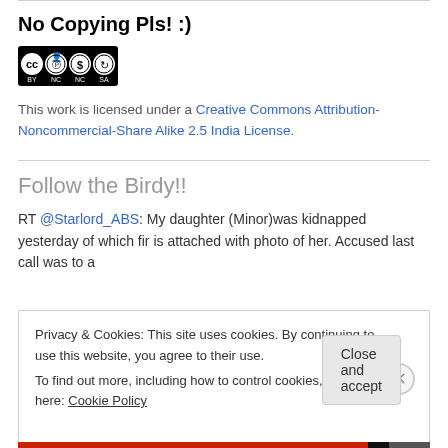No Copying Pls! :)
[Figure (logo): Creative Commons BY NC SA license badge showing cc, person, dollar-sign-circle, and repeat-arrows icons with BY NC SA text below]
This work is licensed under a Creative Commons Attribution-Noncommercial-Share Alike 2.5 India License.
Follow the Birdy!!
RT @Starlord_ABS: My daughter (Minor)was kidnapped yesterday of which fir is attached with photo of her. Accused last call was to a
Privacy & Cookies: This site uses cookies. By continuing to use this website, you agree to their use.
To find out more, including how to control cookies, see here: Cookie Policy
Close and accept